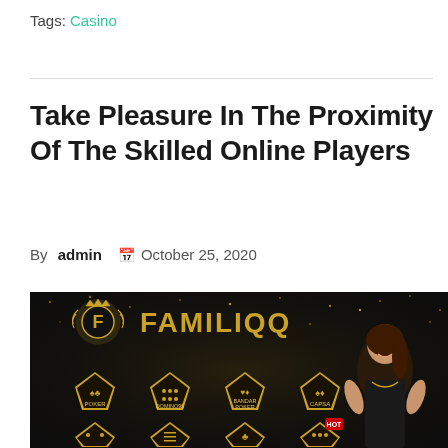Tags: Casino
Take Pleasure In The Proximity Of The Skilled Online Players
By admin  October 25, 2020
[Figure (photo): FAMILIQQ online casino banner featuring a woman in black dress with casino game icons (Poker, Domino99, Bandar Poker, Capsa) on golden pentagon badges against a dark sparkly background. A green TOP button is visible in the upper right.]